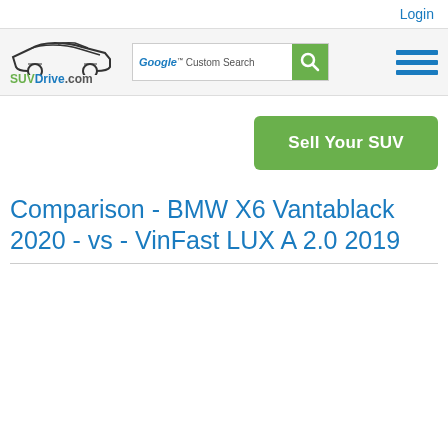Login
[Figure (logo): SUVDrive.com logo with car outline drawing and Google Custom Search bar and hamburger menu]
Sell Your SUV
Comparison - BMW X6 Vantablack 2020 - vs - VinFast LUX A 2.0 2019